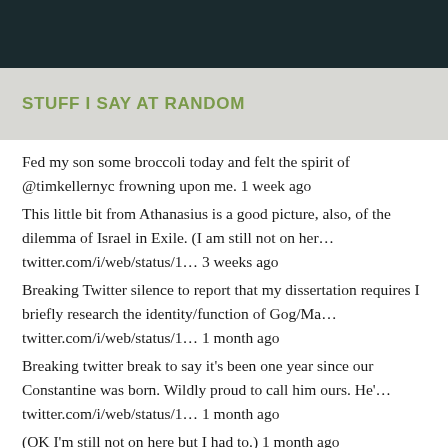STUFF I SAY AT RANDOM
Fed my son some broccoli today and felt the spirit of @timkellernyc frowning upon me. 1 week ago
This little bit from Athanasius is a good picture, also, of the dilemma of Israel in Exile. (I am still not on her... twitter.com/i/web/status/1... 3 weeks ago
Breaking Twitter silence to report that my dissertation requires I briefly research the identity/function of Gog/Ma... twitter.com/i/web/status/1... 1 month ago
Breaking twitter break to say it's been one year since our Constantine was born. Wildly proud to call him ours. He'... twitter.com/i/web/status/1... 1 month ago
(OK I'm still not on here but I had to.) 1 month ago
(Youth pastor voice): So kids, I hear you like Jordan